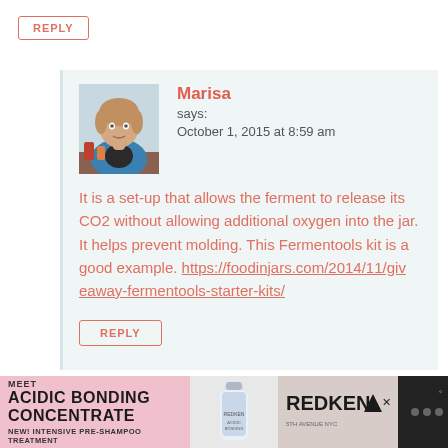REPLY
[Figure (photo): Avatar photo of Marisa, a woman in a blue jacket sitting at a table]
Marisa
says:
October 1, 2015 at 8:59 am
It is a set-up that allows the ferment to release its CO2 without allowing additional oxygen into the jar. It helps prevent molding. This Fermentools kit is a good example. https://foodinjars.com/2014/11/giveaway-fermentools-starter-kits/
REPLY
[Figure (illustration): Advertisement banner for Redken Acidic Bonding Concentrate - New Intensive Pre-Shampoo Treatment]